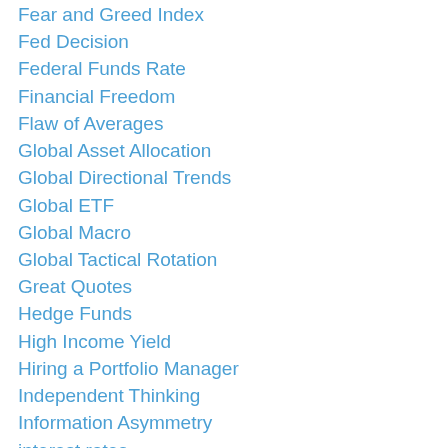Fear and Greed Index
Fed Decision
Federal Funds Rate
Financial Freedom
Flaw of Averages
Global Asset Allocation
Global Directional Trends
Global ETF
Global Macro
Global Tactical Rotation
Great Quotes
Hedge Funds
High Income Yield
Hiring a Portfolio Manager
Independent Thinking
Information Asymmetry
interest rates
Interesting Research Papers
Investment Risk Management
Investment Thought Leadership